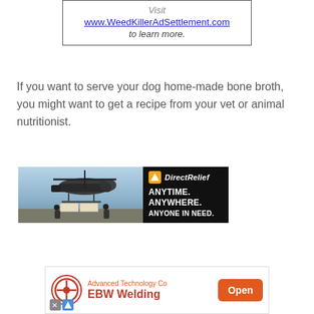[Figure (other): Advertisement box with border: 'Visit www.WeedKillerAdSettlement.com to learn more.']
If you want to serve your dog home-made bone broth, you might want to get a recipe from your vet or animal nutritionist.
[Figure (other): Direct Relief banner advertisement showing military helicopter loading cargo, with black right panel reading 'Direct Relief ANYTIME. ANYWHERE. ANYONE IN NEED.']
[Figure (other): Banner advertisement for Advanced Technology Co EBW Welding with Open button]